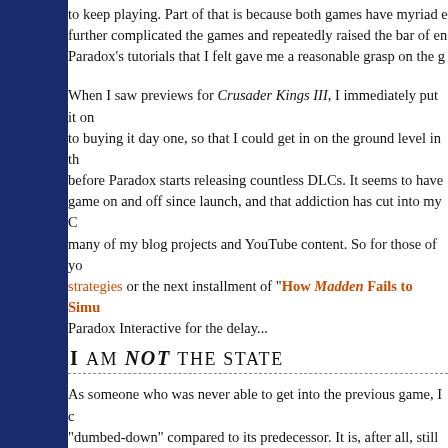to keep playing. Part of that is because both games have myriad e further complicated the games and repeatedly raised the bar of en Paradox's tutorials that I felt gave me a reasonable grasp on the g
When I saw previews for Crusader Kings III, I immediately put it on to buying it day one, so that I could get in on the ground level in th before Paradox starts releasing countless DLCs. It seems to have game on and off since launch, and that addiction has cut into my C many of my blog projects and YouTube content. So for those of yo strategies or the next installment of "How Madden Fails to Simu Paradox Interactive for the delay...
I AM NOT THE STATE
As someone who was never able to get into the previous game, I c "dumbed-down" compared to its predecessor. It is, after all, still ins feel like it has a gentler learning curve and a much more effective predecessors. The hand-holding of the tutorial really did help me g various mechanics were working, and I've also found it much easi find the information that I'm looking for. I still feel like I have no ide mean, but I at least understand enough of the basics this time aro playing the game.
If you're unfamiliar, Crusader Kings is a medieval grand strategy g a small, European (or Middle Eastern or African) kingdom. You en to increase your wealth and power, fight wars to conquer territory, But unlike a game like, say Civilization, you do not play as an abst you play as a line of rulers in a single family dynasty. You play as a any given time. This king grows old, and eventually dies, at which chosen heir and continue playing the game as that character. If yo b family i t t l li ith C S